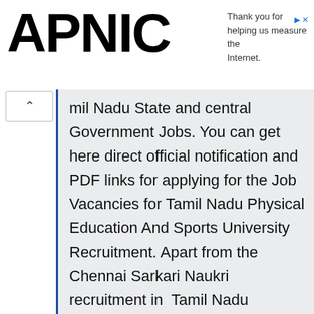APNIC
Thank you for helping us measure the Internet.
mil Nadu State and central Government Jobs. You can get here direct official notification and PDF links for applying for the Job Vacancies for Tamil Nadu Physical Education And Sports University Recruitment. Apart from the Chennai Sarkari Naukri recruitment in Tamil Nadu Physical Education And Sports University, you can get here official Notification updates for other government Departments in Tamil Nadu State for the year 2022.

Apply here at www.tamilnadu.20govt.com website for Careers and Jobs in Tamil Nadu Physical Education And Sports University from their official